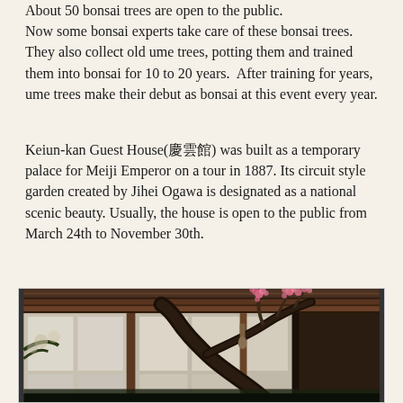About 50 bonsai trees are open to the public. Now some bonsai experts take care of these bonsai trees. They also collect old ume trees, potting them and trained them into bonsai for 10 to 20 years.  After training for years, ume trees make their debut as bonsai at this event every year.
Keiun-kan Guest House(慶雲館) was built as a temporary palace for Meiji Emperor on a tour in 1887. Its circuit style garden created by Jihei Ogawa is designated as a national scenic beauty. Usually, the house is open to the public from March 24th to November 30th.
[Figure (photo): A photograph taken inside the Keiun-kan Guest House showing a large, dramatically twisted ume (plum) bonsai tree with pink blossoms, displayed against traditional Japanese shoji screen windows. The interior features dark wooden ceiling beams. The tree has a gnarled, sculptural trunk.]